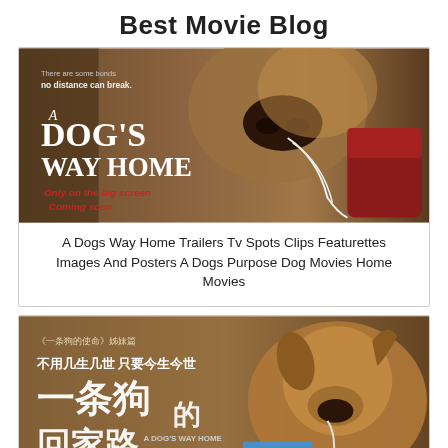Best Movie Blog
[Figure (photo): Movie poster for 'A Dog's Way Home' showing a dog holding a shoelace with a red sneaker, with text 'There are some bonds no distance can break. A Dog's Way Home. Only on the big screen. Coming soon.']
A Dogs Way Home Trailers Tv Spots Clips Featurettes Images And Posters A Dogs Purpose Dog Movies Home Movies
[Figure (photo): Chinese movie poster for 'A Dog's Way Home' (一条狗的回家路) showing a brown dog, with Chinese text '《一条狗的使命》姊妹篇 不用几生几世 只要今生今世 一条狗的回家路' and a 'CLOSE X' button overlay at the bottom.]